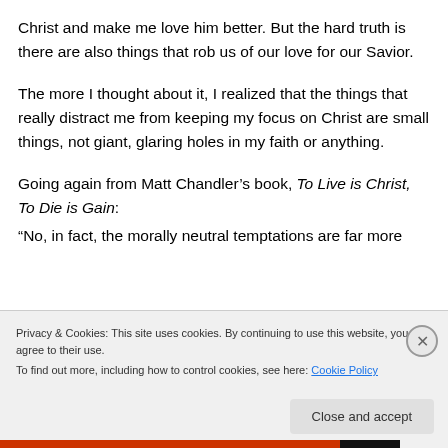Christ and make me love him better. But the hard truth is there are also things that rob us of our love for our Savior.
The more I thought about it, I realized that the things that really distract me from keeping my focus on Christ are small things, not giant, glaring holes in my faith or anything.
Going again from Matt Chandler's book, To Live is Christ, To Die is Gain:
“No, in fact, the morally neutral temptations are far more
Privacy & Cookies: This site uses cookies. By continuing to use this website, you agree to their use. To find out more, including how to control cookies, see here: Cookie Policy